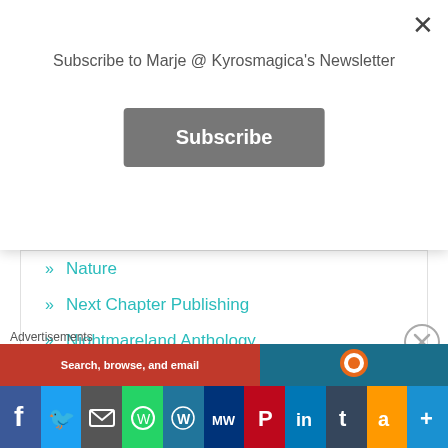Subscribe to Marje @ Kyrosmagica's Newsletter
Subscribe
Nature
Next Chapter Publishing
Nightmareland Anthology
Nonet
Oracle Cards
Para-Tri Triathlon
Paris
Photography
Advertisements
Search, browse, and email